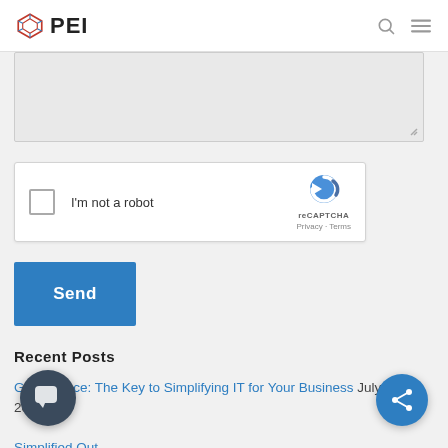PEI
[Figure (screenshot): Textarea input field (truncated, top of page), grayed out with resize handle]
[Figure (screenshot): reCAPTCHA widget with checkbox 'I'm not a robot' and reCAPTCHA logo with Privacy and Terms links]
[Figure (screenshot): Blue 'Send' button]
Recent Posts
Governance: The Key to Simplifying IT for Your Business July 11, 2022
[Figure (screenshot): Chat bubble button (dark blue circle with speech bubble icon, bottom left)]
[Figure (screenshot): Share button (blue circle with share icon, bottom right)]